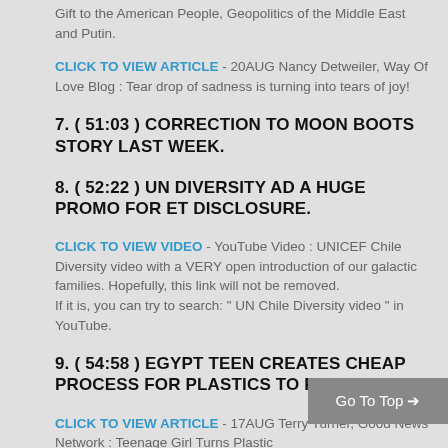Gift to the American People, Geopolitics of the Middle East and Putin.
CLICK TO VIEW ARTICLE  - 20AUG Nancy Detweiler, Way Of Love Blog : Tear drop of sadness is turning into tears of joy!
7. ( 51:03 ) CORRECTION TO MOON BOOTS STORY LAST WEEK.
8. ( 52:22 ) UN DIVERSITY AD A HUGE PROMO FOR ET DISCLOSURE.
CLICK TO VIEW VIDEO  - YouTube Video : UNICEF Chile Diversity video with a VERY open introduction of our galactic families. Hopefully, this link will not be removed.
If it is, you can try to search: " UN Chile Diversity video " in YouTube.
9. ( 54:58 ) EGYPT TEEN CREATES CHEAP PROCESS FOR PLASTICS TO FUEL.
CLICK TO VIEW ARTICLE  - 17AUG Terry Turner, Good News Network : Teenage Girl Turns Plastic